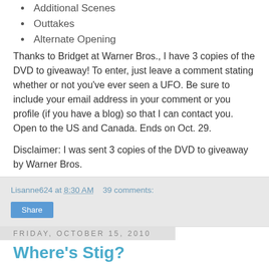Additional Scenes
Outtakes
Alternate Opening
Thanks to Bridget at Warner Bros., I have 3 copies of the DVD to giveaway!  To enter, just leave a comment stating whether or not you've ever seen a UFO.  Be sure to include your email address in your comment or you profile (if you have a blog) so that I can contact you.  Open to the US and Canada.  Ends on Oct. 29.
Disclaimer:  I was sent 3 copies of the DVD to giveaway by Warner Bros.
Lisanne624 at 8:30 AM   39 comments:
Share
Friday, October 15, 2010
Where's Stig?